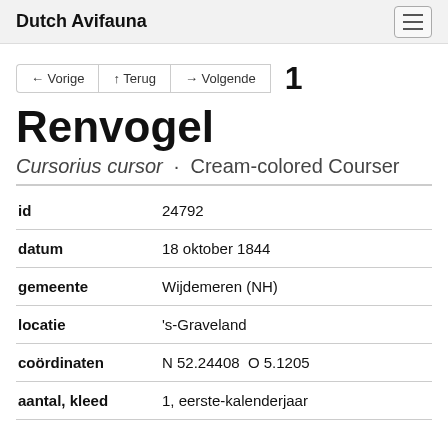Dutch Avifauna
← Vorige  ↑ Terug  → Volgende  1
Renvogel
Cursorius cursor · Cream-colored Courser
| Field | Value |
| --- | --- |
| id | 24792 |
| datum | 18 oktober 1844 |
| gemeente | Wijdemeren (NH) |
| locatie | 's-Graveland |
| coördinaten | N 52.24408  O 5.1205 |
| aantal, kleed | 1, eerste-kalenderjaar |